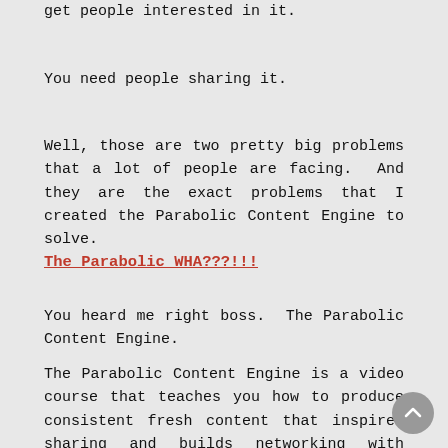get people interested in it.
You need people sharing it.
Well, those are two pretty big problems that a lot of people are facing.  And they are the exact problems that I created the Parabolic Content Engine to solve.
The Parabolic WHA???!!!
You heard me right boss.  The Parabolic Content Engine.
The Parabolic Content Engine is a video course that teaches you how to produce consistent fresh content that inspires sharing and builds networking with influencers.